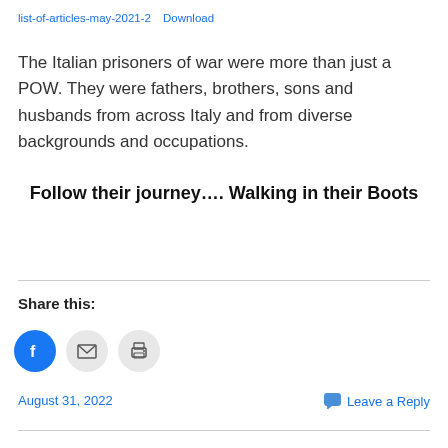list-of-articles-may-2021-2   Download
The Italian prisoners of war were more than just a POW. They were fathers, brothers, sons and husbands from across Italy and from diverse backgrounds and occupations.
Follow their journey…. Walking in their Boots
Share this:
[Figure (infographic): Three circular icon buttons for sharing: Facebook (blue circle with F icon), Email (light grey circle with envelope icon), Print (light grey circle with printer icon)]
August 31, 2022   Leave a Reply